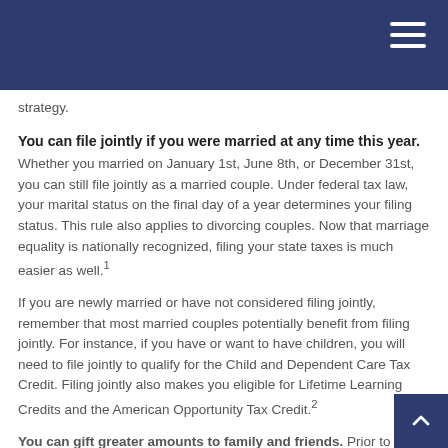strategy.
You can file jointly if you were married at any time this year.
Whether you married on January 1st, June 8th, or December 31st, you can still file jointly as a married couple. Under federal tax law, your marital status on the final day of a year determines your filing status. This rule also applies to divorcing couples. Now that marriage equality is nationally recognized, filing your state taxes is much easier as well.¹
If you are newly married or have not considered filing jointly, remember that most married couples potentially benefit from filing jointly. For instance, if you have or want to have children, you will need to file jointly to qualify for the Child and Dependent Care Tax Credit. Filing jointly also makes you eligible for Lifetime Learning Credits and the American Opportunity Tax Credit.²
You can gift greater amounts to family and friends. Prior to the landmark 2015 Supreme Court ruling, LGBTQ+ spouses were